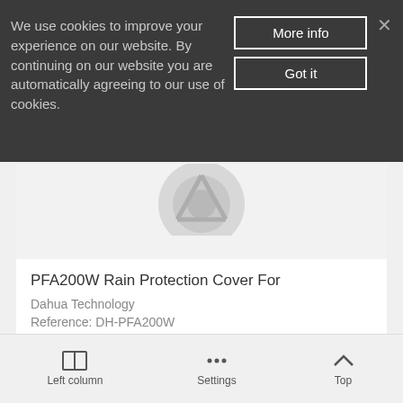We use cookies to improve your experience on our website. By continuing on our website you are automatically agreeing to our use of cookies.
More info
Got it
[Figure (photo): Partially visible circular product logo or icon at top of product card]
PFA200W Rain Protection Cover For
Dahua Technology
Reference: DH-PFA200W
€12.50 (tax incl.)
Left column   Settings   Top